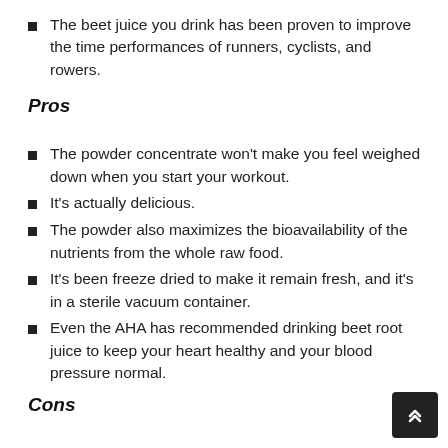The beet juice you drink has been proven to improve the time performances of runners, cyclists, and rowers.
Pros
The powder concentrate won't make you feel weighed down when you start your workout.
It's actually delicious.
The powder also maximizes the bioavailability of the nutrients from the whole raw food.
It's been freeze dried to make it remain fresh, and it's in a sterile vacuum container.
Even the AHA has recommended drinking beet root juice to keep your heart healthy and your blood pressure normal.
Cons